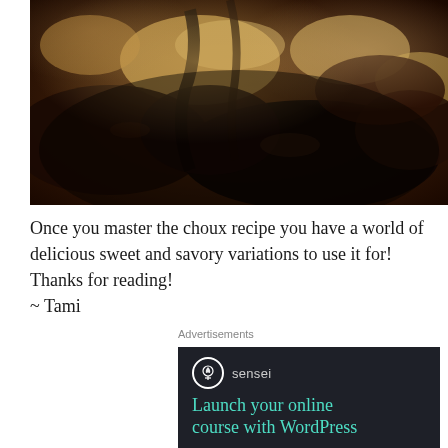[Figure (photo): Close-up photo of chocolate-covered pastries or choux puffs drizzled with dark chocolate, with glimpses of golden pastry underneath.]
Once you master the choux recipe you have a world of delicious sweet and savory variations to use it for! Thanks for reading!
~ Tami
Advertisements
[Figure (logo): Sensei advertisement with dark background. Shows Sensei logo (tree icon in circle) and text: 'sensei' and 'Launch your online course with WordPress']